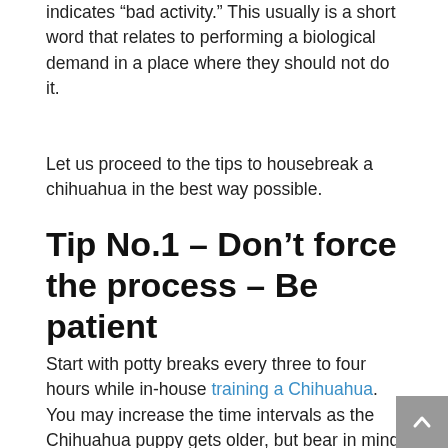indicates “bad activity.” This usually is a short word that relates to performing a biological demand in a place where they should not do it.
Let us proceed to the tips to housebreak a chihuahua in the best way possible.
Tip No.1 – Don’t force the process – Be patient
Start with potty breaks every three to four hours while in-house training a Chihuahua. You may increase the time intervals as the Chihuahua puppy gets older, but bear in mind that they must first understand the house-training game’s fundamentals